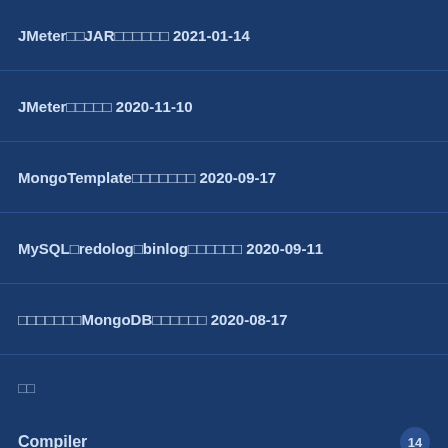JMeter²²JAR²²²²²² 2021-01-14
JMeter²²²²² 2020-11-10
MongoTemplate²²²²²²² 2020-09-17
MySQL²redolog²binlog²²²²²² 2020-09-11
²²²²²²²MongoDB²²²²²² 2020-08-17
²²
Compiler 14
CPU 7
Distributed 3